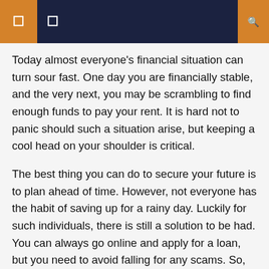☰  ☐  🔍
Today almost everyone's financial situation can turn sour fast. One day you are financially stable, and the very next, you may be scrambling to find enough funds to pay your rent. It is hard not to panic should such a situation arise, but keeping a cool head on your shoulder is critical.
The best thing you can do to secure your future is to plan ahead of time. However, not everyone has the habit of saving up for a rainy day. Luckily for such individuals, there is still a solution to be had. You can always go online and apply for a loan, but you need to avoid falling for any scams. So, we decided to find the most reliable platforms offering swift online payday loans.
Top 5 Loan Companies For Payday Loans Online